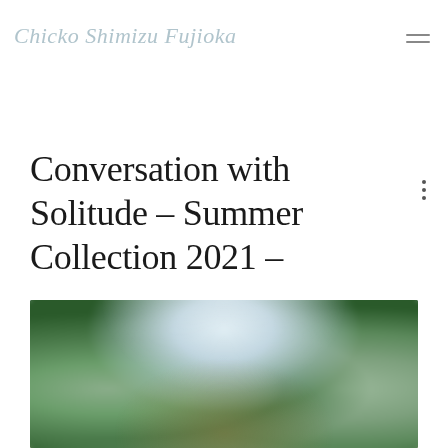Chicko Shimizu Fujioka
Conversation with Solitude – Summer Collection 2021 –
[Figure (photo): Blurred outdoor garden photo with manicured hedges, green lawns, trees, and hills in the background under a cloudy sky.]